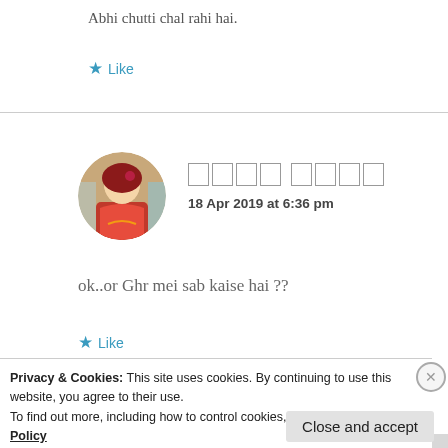Abhi chutti chal rahi hai.
Like
[Figure (photo): Circular avatar photo of a woman in traditional Indian attire (red saree, jewelry)]
18 Apr 2019 at 6:36 pm
ok..or Ghr mei sab kaise hai ??
Like
Privacy & Cookies: This site uses cookies. By continuing to use this website, you agree to their use.
To find out more, including how to control cookies, see here: Cookie Policy
Close and accept